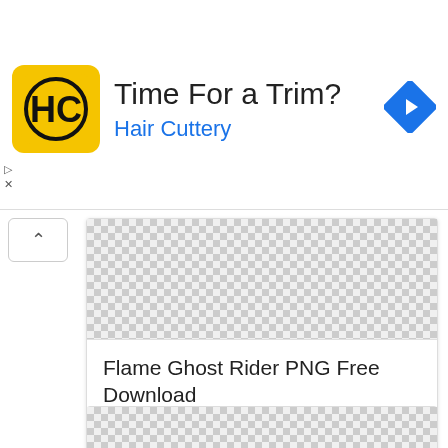[Figure (screenshot): Advertisement banner for Hair Cuttery with logo, text 'Time For a Trim? Hair Cuttery', and navigation icon]
[Figure (screenshot): Collapsed arrow UI button]
[Figure (screenshot): Card with checkerboard transparent image placeholder for Flame Ghost Rider PNG]
Flame Ghost Rider PNG Free Download
Image Dimension: 511x601
File Size: 427 Kb
Download PNG
[Figure (screenshot): Second partially visible card with checkerboard image placeholder]